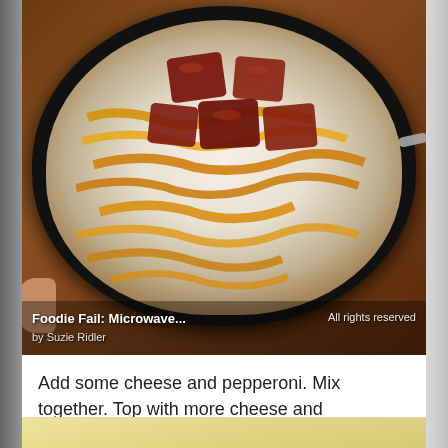[Figure (photo): Overhead view of a white enamel pot on a wooden surface containing shredded orange cheese and chunks of dark pepperoni. A spoon handle is visible on the right side and a thumb appears at the bottom left. Overlay text reads 'Foodie Fail: Microwave...' by Suzie Ridler, with 'All rights reserved' on the right.]
Add some cheese and pepperoni. Mix together. Top with more cheese and pepperoni.